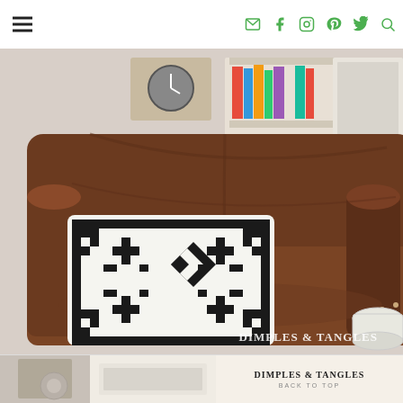Navigation bar with hamburger menu and social icons (email, facebook, instagram, pinterest, twitter, search)
[Figure (photo): Brown leather armchair with a black and white geometric Aztec/kilim pattern throw pillow. Behind the chair is a white bookcase with books, a green pineapple sculpture, and a wooden crate. Watermark reads DIMPLES & TANGLES.]
[Figure (photo): Partial view of a second interior photo showing a light-colored room with white built-in shelving.]
DIMPLES & TANGLES
BACK TO TOP